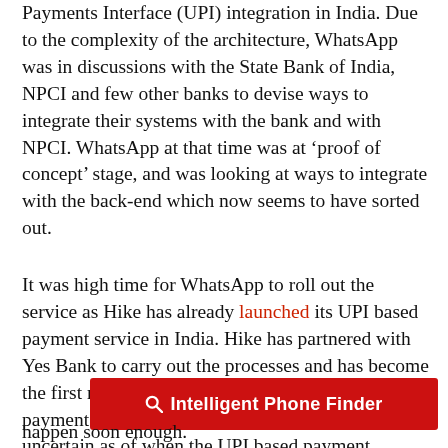Payments Interface (UPI) integration in India. Due to the complexity of the architecture, WhatsApp was in discussions with the State Bank of India, NPCI and few other banks to devise ways to integrate their systems with the bank and with NPCI. WhatsApp at that time was at 'proof of concept' stage, and was looking at ways to integrate with the back-end which now seems to have sorted out.
It was high time for WhatsApp to roll out the service as Hike has already launched its UPI based payment service in India. Hike has partnered with Yes Bank to carry out the processes and has become the first messenger in India to launch UPI based payment service even before WhatsApp. It is uncertain as of when the UPI based payment service will be available for public but its inclu... happen soon enough.
[Figure (other): Red banner button labeled 'Intelligent Phone Finder' with a search/magnifying glass icon on the left, white text on red background]